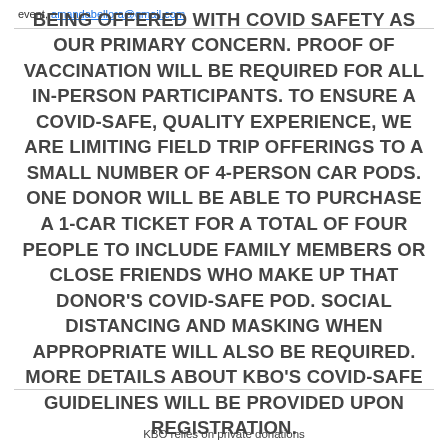event, amandabellora@gmail.com
OUR KBO FUNDRAISING EVENTS ARE BEING OFFERED WITH COVID SAFETY AS OUR PRIMARY CONCERN. PROOF OF VACCINATION WILL BE REQUIRED FOR ALL IN-PERSON PARTICIPANTS. TO ENSURE A COVID-SAFE, QUALITY EXPERIENCE, WE ARE LIMITING FIELD TRIP OFFERINGS TO A SMALL NUMBER OF 4-PERSON CAR PODS. ONE DONOR WILL BE ABLE TO PURCHASE A 1-CAR TICKET FOR A TOTAL OF FOUR PEOPLE TO INCLUDE FAMILY MEMBERS OR CLOSE FRIENDS WHO MAKE UP THAT DONOR'S COVID-SAFE POD. SOCIAL DISTANCING AND MASKING WHEN APPROPRIATE WILL ALSO BE REQUIRED. MORE DETAILS ABOUT KBO'S COVID-SAFE GUIDELINES WILL BE PROVIDED UPON REGISTRATION.
KBO relies on private donations